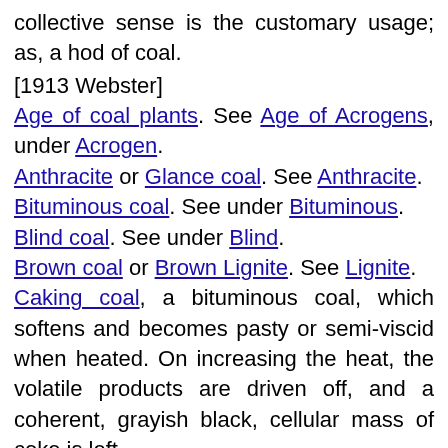collective sense is the customary usage; as, a hod of coal.
[1913 Webster]
Age of coal plants. See Age of Acrogens, under Acrogen.
Anthracite or Glance coal. See Anthracite.
Bituminous coal. See under Bituminous.
Blind coal. See under Blind.
Brown coal or Brown Lignite. See Lignite.
Caking coal, a bituminous coal, which softens and becomes pasty or semi-viscid when heated. On increasing the heat, the volatile products are driven off, and a coherent, grayish black, cellular mass of coke is left.
Cannel coal, a very compact bituminous coal, of fine texture and dull luster. See Cannel coal.
Coal bed (Geol.), a layer or stratum of mineral coal.
Coal breaker, a structure including machines and